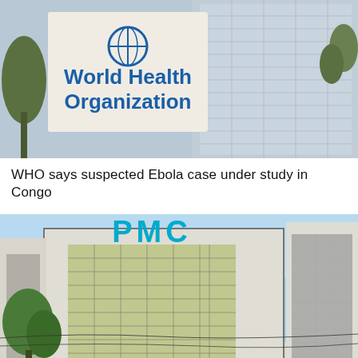[Figure (photo): Photo of World Health Organization sign outside a building, with trees and a modern building facade in the background]
WHO says suspected Ebola case under study in Congo
[Figure (photo): Photo of a building with PMC signage in blue letters on the facade, with glass windows and trees in front]
PM Shahbaz Sharif dissolves PMC, suspends officials